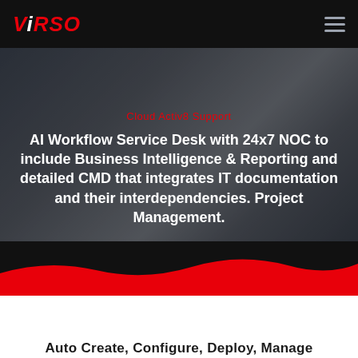[Figure (logo): ViRSO logo in red and white italic bold text on black navbar background]
[Figure (photo): Background photo of person in suit working on laptop/keyboard, overlaid with dark semi-transparent overlay]
Cloud Activ8 Support
AI Workflow Service Desk with 24x7 NOC to include Business Intelligence & Reporting and detailed CMD that integrates IT documentation and their interdependencies. Project Management.
[Figure (illustration): Black and red wave/swoosh decorative graphic divider with black wave on top and red wave below]
Auto Create, Configure, Deploy, Manage